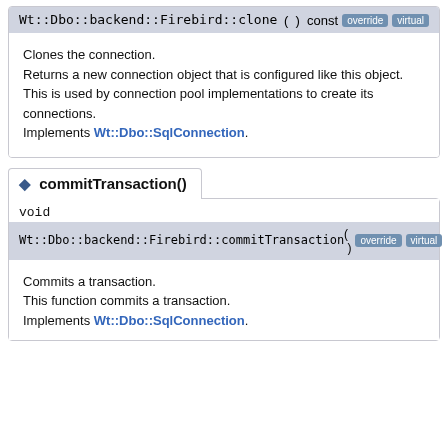Wt::Dbo::backend::Firebird::clone ( ) const override virtual
Clones the connection.
Returns a new connection object that is configured like this object. This is used by connection pool implementations to create its connections.
Implements Wt::Dbo::SqlConnection.
◆ commitTransaction()
void
Wt::Dbo::backend::Firebird::commitTransaction ( ) override virtual
Commits a transaction.
This function commits a transaction.
Implements Wt::Dbo::SqlConnection.